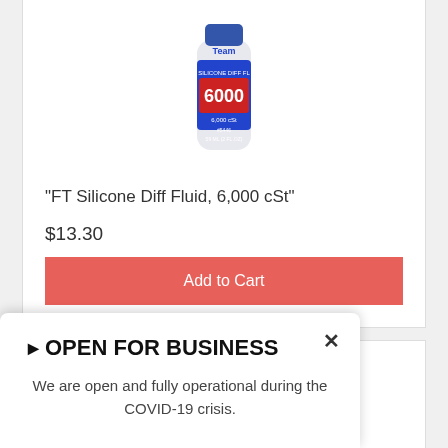[Figure (photo): A small bottle of FT Silicone Diff Fluid 6,000 cSt with red and blue label]
"FT Silicone Diff Fluid, 6,000 cSt"
$13.30
Add to Cart
[Figure (photo): Partial view of another Team Associated product bottle]
▶ OPEN FOR BUSINESS
We are open and fully operational during the COVID-19 crisis.